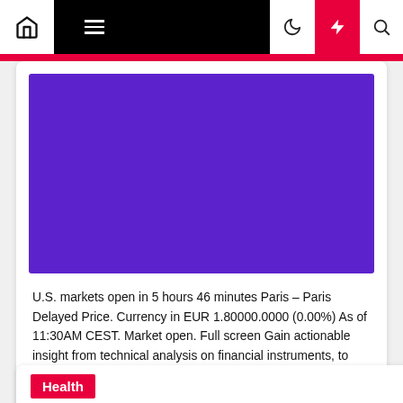Navigation bar with home, menu, dark mode, lightning/breaking news, and search icons
[Figure (screenshot): Purple/violet colored rectangle representing an embedded financial chart or advertisement placeholder]
U.S. markets open in 5 hours 46 minutes Paris – Paris Delayed Price. Currency in EUR 1.80000.0000 (0.00%) As of 11:30AM CEST. Market open. Full screen Gain actionable insight from technical analysis on financial instruments, to help optimize your trading strategies Chart Events Previous Close 1.8000 Open 1.8000 Bid 0.0000 […]
Health